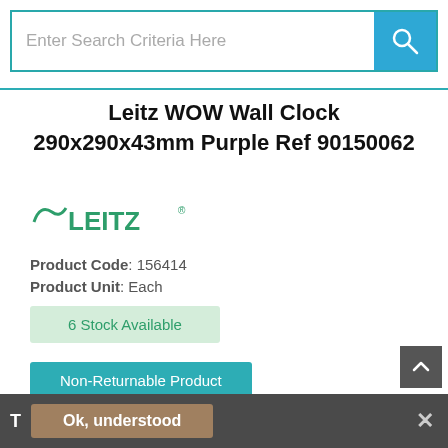[Figure (screenshot): Search bar with 'Enter Search Criteria Here' placeholder text and blue search button with magnifier icon]
Leitz WOW Wall Clock 290x290x43mm Purple Ref 90150062
[Figure (logo): Leitz brand logo in green with stylized wave and 'LEITZ' text with registered trademark symbol]
Product Code: 156414
Product Unit: Each
6 Stock Available
Non-Returnable Product
(0 Reviews) - Be the first to
Ok, understood